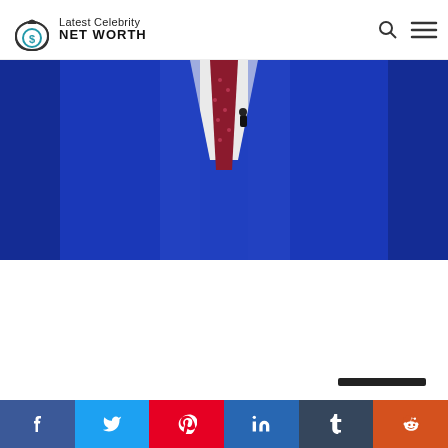Latest Celebrity NET WORTH
[Figure (photo): Person wearing a blue suit and patterned red/burgundy tie with a lapel microphone, photo cropped to chest/torso area with bright blue suit dominant]
[Figure (other): Social media share bar with Facebook, Twitter, Pinterest, LinkedIn, Tumblr, Reddit buttons]